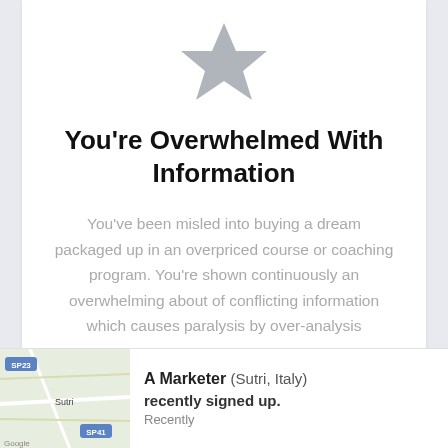[Figure (illustration): Gray star icon centered at the top of a white card]
You're Overwhelmed With Information
You've been misled into buying a dream packaged up in an overpriced course or coaching program. You're shown continuously an overwhelming about of conflicting information which causes paralysis by over-analysis
A Marketer (Sutri, Italy) recently signed up. Recently